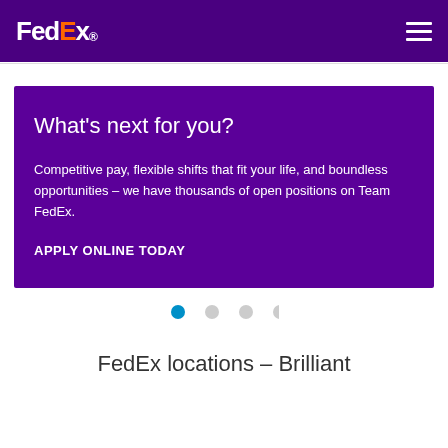FedEx. [logo] [hamburger menu]
What's next for you?
Competitive pay, flexible shifts that fit your life, and boundless opportunities – we have thousands of open positions on Team FedEx.
APPLY ONLINE TODAY
[Figure (infographic): Carousel pagination dots: one teal/blue dot (active) followed by three light gray dots]
FedEx locations – Brilliant